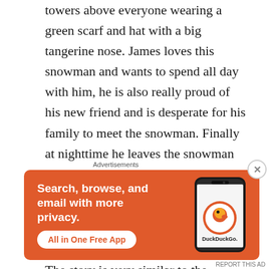towers above everyone wearing a green scarf and hat with a big tangerine nose. James loves this snowman and wants to spend all day with him, he is also really proud of his new friend and is desperate for his family to meet the snowman. Finally at nighttime he leaves the snowman but then in the night something magical happens, and James is not the only one to witness the magic of the snowman.
The story is very similar to the original but with a few subtle differences but this is what makes it a different
[Figure (other): DuckDuckGo advertisement banner with orange background. Text reads: Search, browse, and email with more privacy. All in One Free App. Shows a smartphone with the DuckDuckGo logo and branding.]